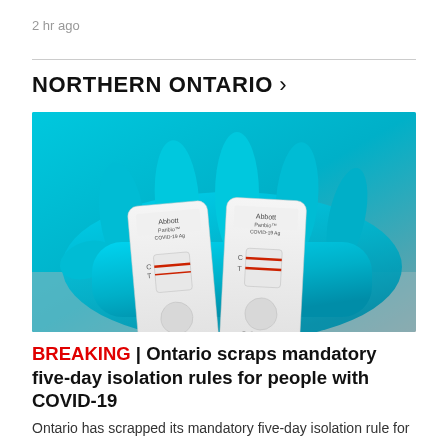2 hr ago
NORTHERN ONTARIO >
[Figure (photo): A blue-gloved hand holding two white COVID-19 rapid antigen test cartridges (Abbott Panbio COVID-19 Ag), one labeled 'neg' and one labeled 'pos', against a blurred background.]
BREAKING | Ontario scraps mandatory five-day isolation rules for people with COVID-19
Ontario has scrapped its mandatory five-day isolation rule for